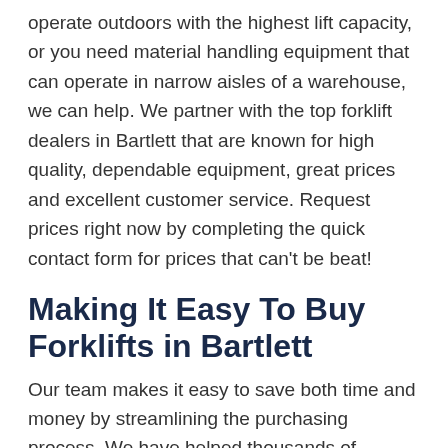operate outdoors with the highest lift capacity, or you need material handling equipment that can operate in narrow aisles of a warehouse, we can help. We partner with the top forklift dealers in Bartlett that are known for high quality, dependable equipment, great prices and excellent customer service. Request prices right now by completing the quick contact form for prices that can't be beat!
Making It Easy To Buy Forklifts in Bartlett
Our team makes it easy to save both time and money by streamlining the purchasing process. We have helped thousands of customers quickly compare new and used forklift prices in Bartlett and narrowing down their options until they get the right fit. Simply start by determining what type you need: